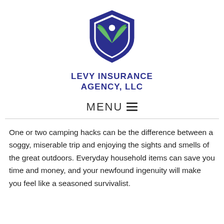[Figure (logo): Levy Insurance Agency LLC shield logo with green leaf design and blue shield]
LEVY INSURANCE AGENCY, LLC
MENU ≡
One or two camping hacks can be the difference between a soggy, miserable trip and enjoying the sights and smells of the great outdoors. Everyday household items can save you time and money, and your newfound ingenuity will make you feel like a seasoned survivalist.